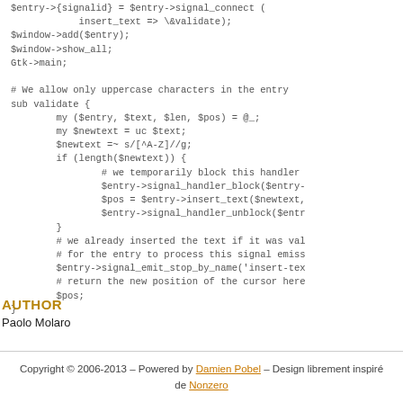$entry->{signalid} = $entry->signal_connect (
            insert_text => \&validate);
$window->add($entry);
$window->show_all;
Gtk->main;

# We allow only uppercase characters in the entry
sub validate {
        my ($entry, $text, $len, $pos) = @_;
        my $newtext = uc $text;
        $newtext =~ s/[^A-Z]//g;
        if (length($newtext)) {
                # we temporarily block this handler
                $entry->signal_handler_block($entry->
                $pos = $entry->insert_text($newtext,
                $entry->signal_handler_unblock($entr
        }
        # we already inserted the text if it was val
        # for the entry to process this signal emiss
        $entry->signal_emit_stop_by_name('insert-tex
        # return the new position of the cursor here
        $pos;
}
AUTHOR
Paolo Molaro
Copyright © 2006-2013 – Powered by Damien Pobel – Design librement inspiré de Nonzero